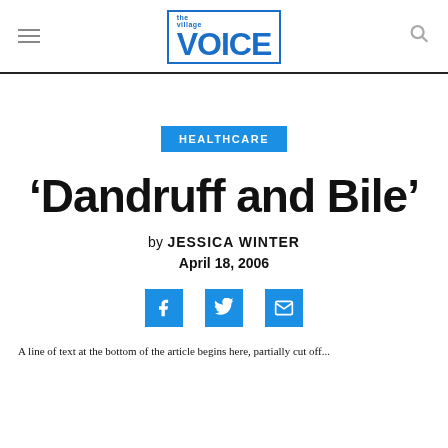the village VOICE
HEALTHCARE
'Dandruff and Bile'
by JESSICA WINTER
April 18, 2006
[Figure (infographic): Social share icons: Facebook, Twitter, Email]
A line of text visible at the bottom of the page (partially cut off)